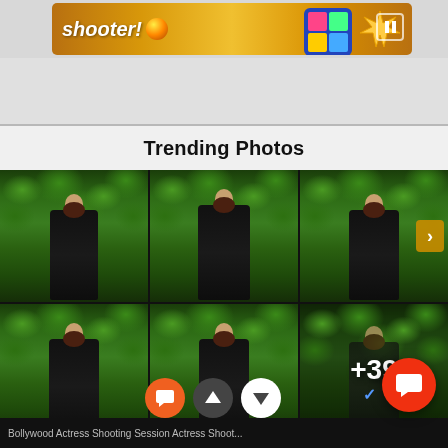[Figure (screenshot): Advertisement banner with 'shooter!' text and colorful ball icon against golden/orange game-themed background]
Trending Photos
[Figure (photo): Grid of 6 photos showing a woman in black outfit posing outdoors with green foliage background. The last cell shows +39 overlay indicating more photos. UI overlay shows comment, vote up, and vote down buttons. A red FAB chat button appears in bottom right.]